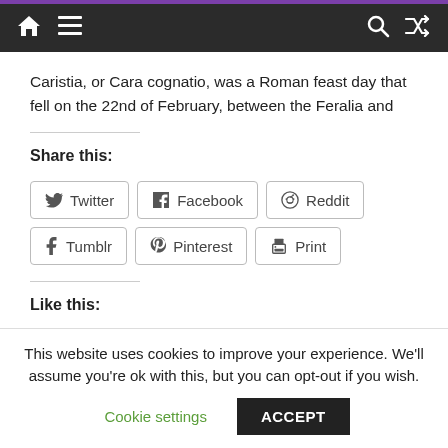Navigation bar with home, menu, search, and shuffle icons
Caristia, or Cara cognatio, was a Roman feast day that fell on the 22nd of February, between the Feralia and
Share this:
Twitter  Facebook  Reddit  Tumblr  Pinterest  Print
Like this:
Like
This website uses cookies to improve your experience. We'll assume you're ok with this, but you can opt-out if you wish.
Cookie settings  ACCEPT